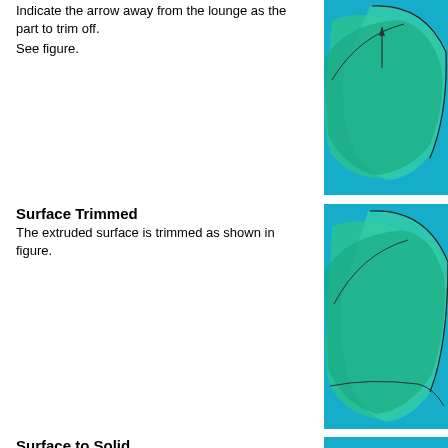Indicate the arrow away from the lounge as the part to trim off.
See figure.
[Figure (screenshot): 3D CAD rendering showing surface trim operation on teal/green surfaces with blue background]
Surface Trimmed
The extruded surface is trimmed as shown in figure.
[Figure (screenshot): 3D CAD rendering showing trimmed extruded surface in teal/green on blue background]
Surface to Solid
[Figure (screenshot): Small icon showing Thicken tool]
Click the Thicken tool on the Features toolbar.
The Thicken tool is in the same flyout as the Thin Wall and Thin Region tools.
Select the trimmed surface and the stitched surface to thicken.
[Figure (screenshot): 3D CAD rendering showing surface to solid operation with purple, orange and teal surfaces on blue background]